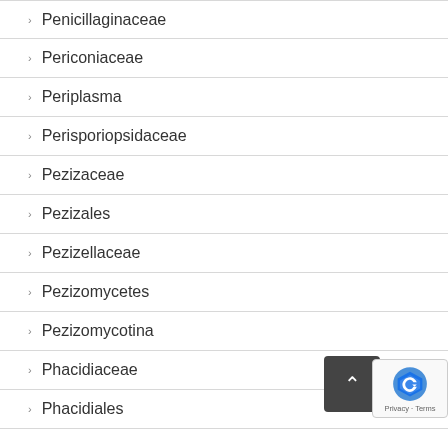Penicillaginaceae
Periconiaceae
Periplasma
Perisporiopsidaceae
Pezizaceae
Pezizales
Pezizellaceae
Pezizomycetes
Pezizomycotina
Phacidiaceae
Phacidiales